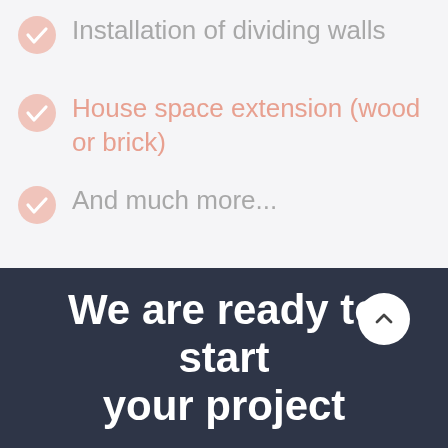Installation of dividing walls
House space extension (wood or brick)
And much more...
We are ready to start your project